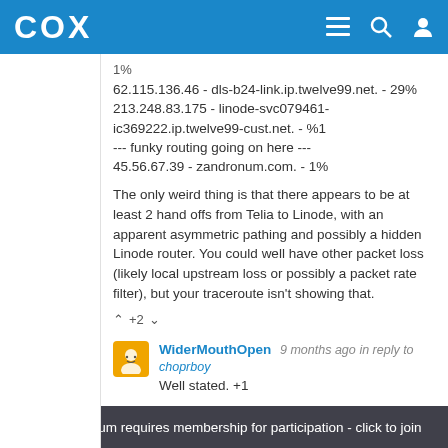COX
1%
62.115.136.46 - dls-b24-link.ip.twelve99.net. - 29%
213.248.83.175 - linode-svc079461-ic369222.ip.twelve99-cust.net. - %1
--- funky routing going on here ---
45.56.67.39 - zandronum.com. - 1%
The only weird thing is that there appears to be at least 2 hand offs from Telia to Linode, with an apparent asymmetric pathing and possibly a hidden Linode router. You could well have other packet loss (likely local upstream loss or possibly a packet rate filter), but your traceroute isn't showing that.
+2
WiderMouthOpen 9 months ago in reply to choprboy
Well stated. +1
Internet Forum requires membership for participation - click to join